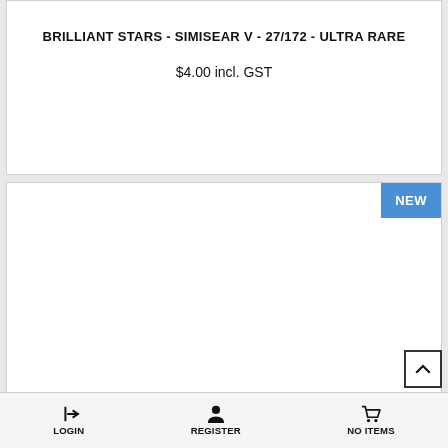BRILLIANT STARS - SIMISEAR V - 27/172 - ULTRA RARE
$4.00 incl. GST
[Figure (other): Product image area with NEW badge in top right corner, content area is blank/white]
LOGIN   REGISTER   No Items